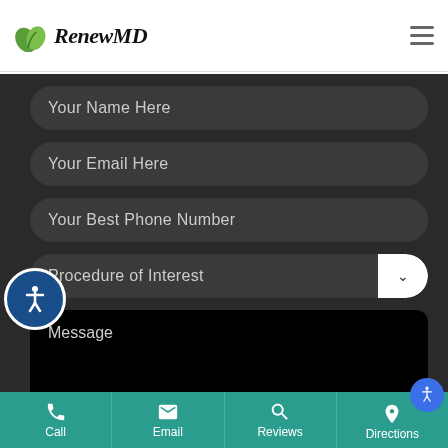[Figure (logo): RenewMD logo with green leaf icon and serif bold text]
[Figure (screenshot): Contact form with dark background showing fields: Your Name Here, Your Email Here, Your Best Phone Number, Procedure of Interest (dropdown), and Message text area]
[Figure (infographic): Bottom navigation bar with teal background showing Call, Email, Reviews, Directions icons]